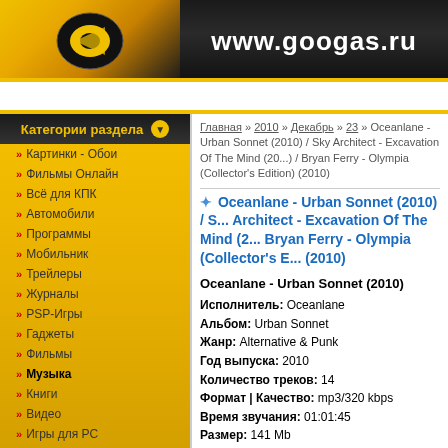www.googas.ru
Главная | Регистрация | Вход
Категории раздела
Картинки - Обои
Фильмы Онлайн
Всё для КПК
Автомобили
Программы
Мобильник
Трейлеры
Журналы
PSP-Игры
Гаджеты
Фильмы
Музыка
Книги
Видео
Игры для PC
GPS
Обо Всём !
Главная » 2010 » Декабрь » 23 » Oceanlane - Urban Sonnet (2010) / Sky Architect - Excavation Of The Mind (2010) / Bryan Ferry - Olympia (Collector's Edition) (2010)
Oceanlane - Urban Sonnet (2010) / Sky Architect - Excavation Of The Mind (2010) / Bryan Ferry - Olympia (Collector's Edition) (2010)
Oceanlane - Urban Sonnet (2010)
Исполнитель: Oceanlane
Альбом: Urban Sonnet
Жанр: Alternative & Punk
Год выпуска: 2010
Количество треков: 14
Формат | Качество: mp3/320 kbps
Время звучания: 01:01:45
Размер: 141 Mb
Треклист:
1. Submarine Volcano (04:32)
2. You're Just Everything (04:20)
3. Gloria (03:49)
4. You're In A Cage (04:35)
5. Singing In The Rain Again (04:11)